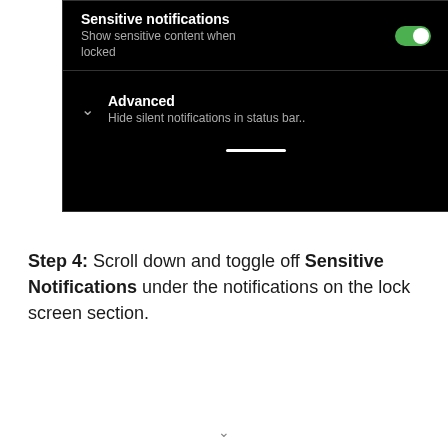[Figure (screenshot): Android settings screen showing 'Sensitive notifications' option with toggle switch turned on (green), subtitle 'Show sensitive content when locked', and below a divider an 'Advanced' option with chevron and subtitle 'Hide silent notifications in status bar..', with a home navigation bar at bottom]
Step 4: Scroll down and toggle off Sensitive Notifications under the notifications on the lock screen section.